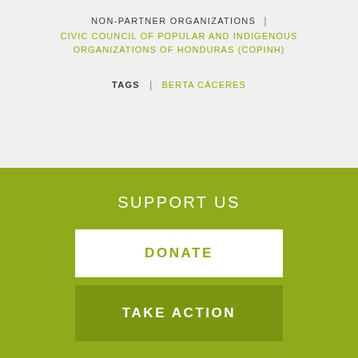NON-PARTNER ORGANIZATIONS | CIVIC COUNCIL OF POPULAR AND INDIGENOUS ORGANIZATIONS OF HONDURAS (COPINH)
TAGS | BERTA CÁCERES
SUPPORT US
DONATE
TAKE ACTION